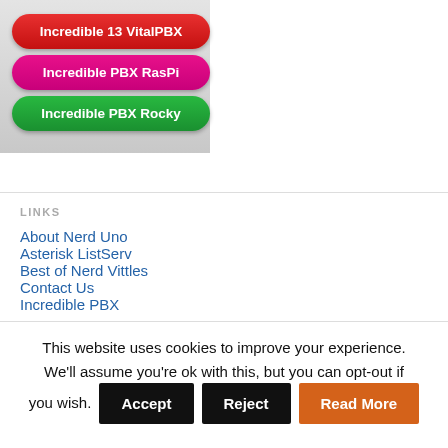[Figure (screenshot): Three pill-shaped buttons on a gray gradient background: red 'Incredible 13 VitalPBX', pink 'Incredible PBX RasPi', green 'Incredible PBX Rocky']
LINKS
About Nerd Uno
Asterisk ListServ
Best of Nerd Vittles
Contact Us
Incredible PBX
This website uses cookies to improve your experience. We'll assume you're ok with this, but you can opt-out if you wish. Accept Reject Read More